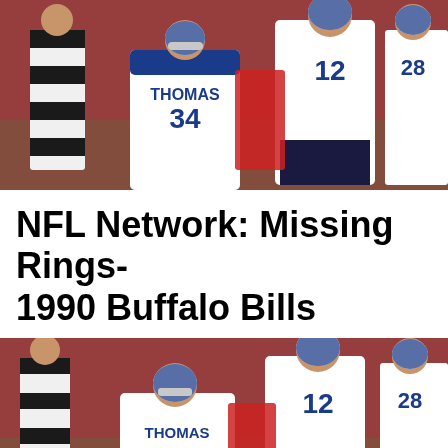[Figure (photo): Buffalo Bills football players in white jerseys on field. Player with jersey reading 'THOMAS 34' and quarterback wearing number 12 visible. Referee in striped shirt and player number 28 also visible. Red-clad opponents in background.]
NFL Network: Missing Rings- 1990 Buffalo Bills
[Figure (photo): Same Buffalo Bills football scene — duplicate of top photo showing players including THOMAS 34 and quarterback number 12, player 28 at right, referee at left.]